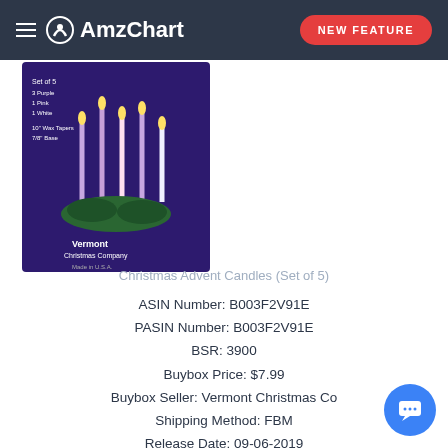AmzChart  NEW FEATURE
[Figure (photo): Product image of Christmas Advent Candles (Set of 5) in a purple box showing 3 Purple, 1 Pink, 1 White wax tapers, Vermont Christmas Company branding]
Christmas Advent Candles (Set of 5)
ASIN Number: B003F2V91E
PASIN Number: B003F2V91E
BSR: 3900
Buybox Price: $7.99
Buybox Seller: Vermont Christmas Co
Shipping Method: FBM
Release Date: 09-06-2019
Number of Sellers: 2
Category Path: Home & Kitchen->Home Décor->Candles & Holders->Candles->Specialty Candles->Candles: